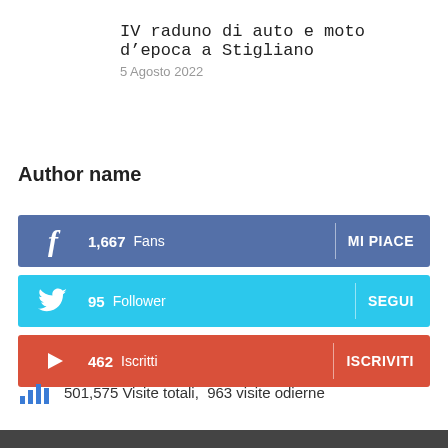IV raduno di auto e moto d’epoca a Stigliano
5 Agosto 2022
Author name
1,667  Fans   MI PIACE
95  Follower   SEGUI
462  Iscritti   ISCRIVITI
501,575 Visite totali,  963 visite odierne